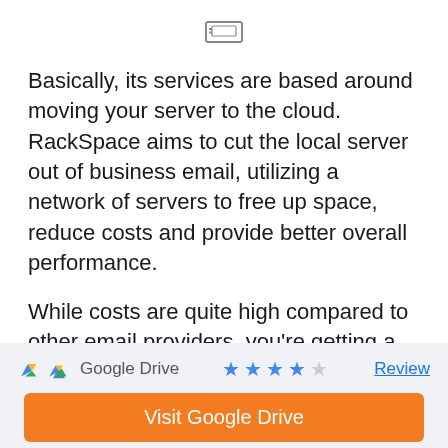[Figure (logo): Small server/computer icon at top center]
Basically, its services are based around moving your server to the cloud. RackSpace aims to cut the local server out of business email, utilizing a network of servers to free up space, reduce costs and provide better overall performance.
While costs are quite high compared to other email providers, you're getting a lot of value here. Exchange servers, for example, run a
Google Drive  ★★★★☆  Review  Visit Google Drive